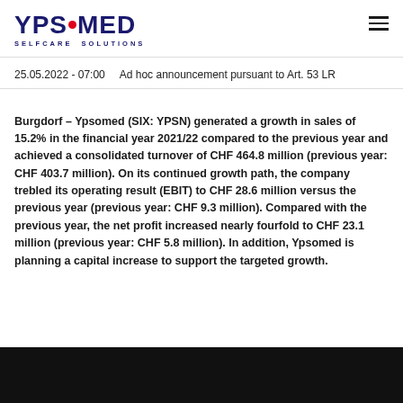YPSOMED SELFCARE SOLUTIONS
25.05.2022 - 07:00     Ad hoc announcement pursuant to Art. 53 LR
Burgdorf – Ypsomed (SIX: YPSN) generated a growth in sales of 15.2% in the financial year 2021/22 compared to the previous year and achieved a consolidated turnover of CHF 464.8 million (previous year: CHF 403.7 million). On its continued growth path, the company trebled its operating result (EBIT) to CHF 28.6 million versus the previous year (previous year: CHF 9.3 million). Compared with the previous year, the net profit increased nearly fourfold to CHF 23.1 million (previous year: CHF 5.8 million). In addition, Ypsomed is planning a capital increase to support the targeted growth.
[Figure (photo): Black video placeholder at bottom of page]